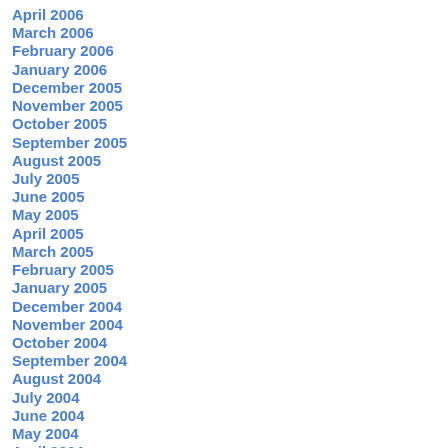April 2006
March 2006
February 2006
January 2006
December 2005
November 2005
October 2005
September 2005
August 2005
July 2005
June 2005
May 2005
April 2005
March 2005
February 2005
January 2005
December 2004
November 2004
October 2004
September 2004
August 2004
July 2004
June 2004
May 2004
April 2004
March 2004
February 2004
January 2004
December 2003
November 2003